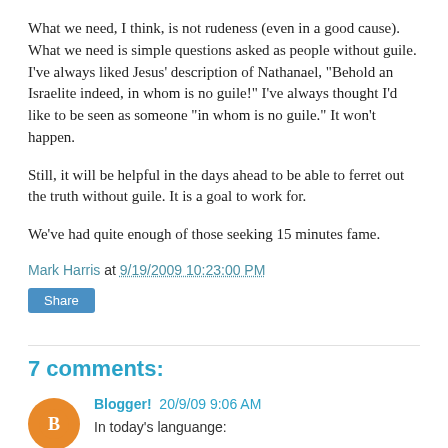What we need, I think, is not rudeness (even in a good cause). What we need is simple questions asked as people without guile. I've always liked Jesus' description of Nathanael, "Behold an Israelite indeed, in whom is no guile!" I've always thought I'd like to be seen as someone "in whom is no guile." It won't happen.
Still, it will be helpful in the days ahead to be able to ferret out the truth without guile. It is a goal to work for.
We've had quite enough of those seeking 15 minutes fame.
Mark Harris at 9/19/2009 10:23:00 PM
Share
7 comments:
Blogger!  20/9/09 9:06 AM
In today's languange:
"my bad, my bad, my most def bad"